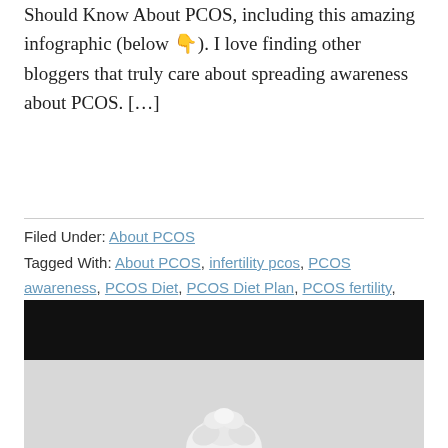Should Know About PCOS, including this amazing infographic (below 👇). I love finding other bloggers that truly care about spreading awareness about PCOS. […]
Filed Under: About PCOS
Tagged With: About PCOS, infertility pcos, PCOS awareness, PCOS Diet, PCOS Diet Plan, PCOS fertility, pcos medication, pcos treatment, PCOS Weight Loss
[Figure (photo): A partially visible image with a black top band and a light grey lower section showing what appears to be a white floral or plant element at the bottom]